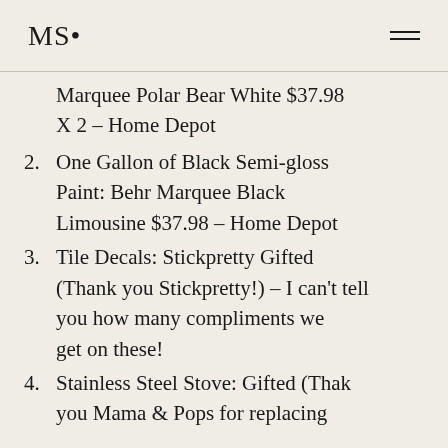MS•
Marquee Polar Bear White $37.98 X 2 – Home Depot
2. One Gallon of Black Semi-gloss Paint: Behr Marquee Black Limousine $37.98 – Home Depot
3. Tile Decals: Stickpretty Gifted (Thank you Stickpretty!) – I can't tell you how many compliments we get on these!
4. Stainless Steel Stove: Gifted (Thak you Mama & Pops for replacing